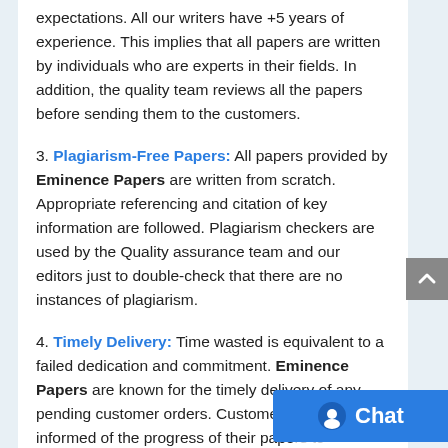expectations. All our writers have +5 years of experience. This implies that all papers are written by individuals who are experts in their fields. In addition, the quality team reviews all the papers before sending them to the customers.
3. Plagiarism-Free Papers: All papers provided by Eminence Papers are written from scratch. Appropriate referencing and citation of key information are followed. Plagiarism checkers are used by the Quality assurance team and our editors just to double-check that there are no instances of plagiarism.
4. Timely Delivery: Time wasted is equivalent to a failed dedication and commitment. Eminence Papers are known for the timely delivery of any pending customer orders. Customers are well informed of the progress of their papers to ensure they keep track of what the writer is providing before the final submission of the...